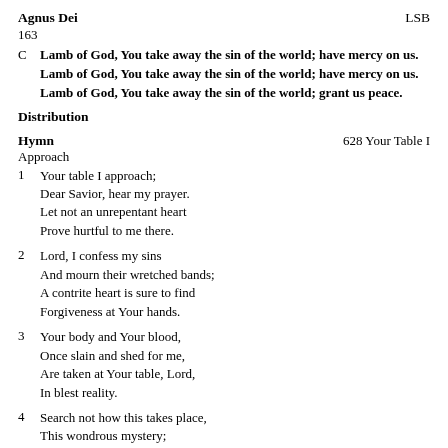Agnus Dei    LSB
163
C  Lamb of God, You take away the sin of the world; have mercy on us.
Lamb of God, You take away the sin of the world; have mercy on us.
Lamb of God, You take away the sin of the world; grant us peace.
Distribution
Hymn    628 Your Table I Approach
Approach
1  Your table I approach;
   Dear Savior, hear my prayer.
   Let not an unrepentant heart
   Prove hurtful to me there.
2  Lord, I confess my sins
   And mourn their wretched bands;
   A contrite heart is sure to find
   Forgiveness at Your hands.
3  Your body and Your blood,
   Once slain and shed for me,
   Are taken at Your table, Lord,
   In blest reality.
4  Search not how this takes place,
   This wondrous mystery;
   God can accomplish vastly more
   Than what we think could be.